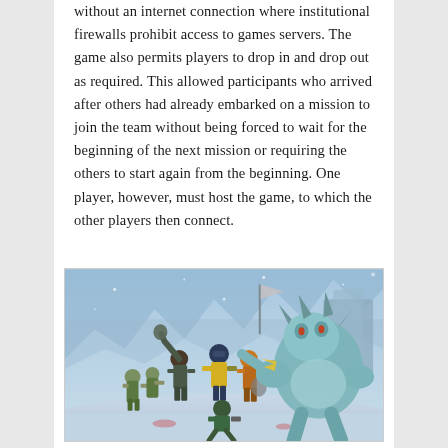without an internet connection where institutional firewalls prohibit access to games servers. The game also permits players to drop in and drop out as required. This allowed participants who arrived after others had already embarked on a mission to join the team without being forced to wait for the beginning of the next mission or requiring the others to start again from the beginning. One player, however, must host the game, to which the other players then connect.
[Figure (photo): A video game screenshot showing multiple player characters and a large monster enemy in a snowy winter environment. Characters include figures in colorful outfits fighting against a large blue-green creature. The scene appears to be from the game Borderlands 2.]